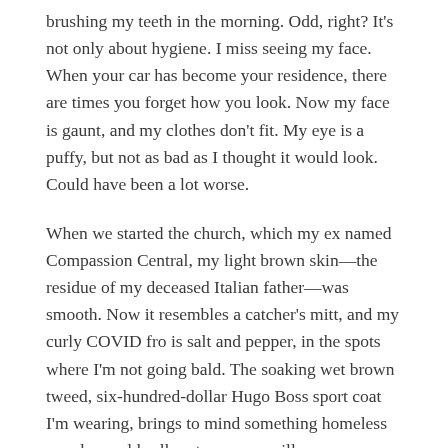brushing my teeth in the morning. Odd, right? It's not only about hygiene. I miss seeing my face. When your car has become your residence, there are times you forget how you look. Now my face is gaunt, and my clothes don't fit. My eye is a puffy, but not as bad as I thought it would look. Could have been a lot worse.
When we started the church, which my ex named Compassion Central, my light brown skin—the residue of my deceased Italian father—was smooth. Now it resembles a catcher's mitt, and my curly COVID fro is salt and pepper, in the spots where I'm not going bald. The soaking wet brown tweed, six-hundred-dollar Hugo Boss sport coat I'm wearing, brings to mind something homeless people would roll up to use as a pillow.